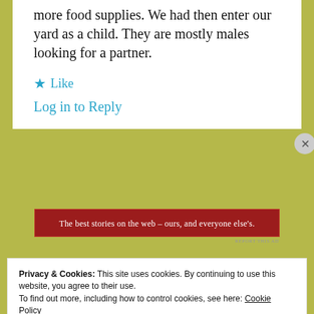more food supplies. We had then enter our yard as a child. They are mostly males looking for a partner.
★ Like
Log in to Reply
[Figure (other): Red advertisement banner reading: The best stories on the web – ours, and everyone else's.]
REPORT THIS AD
Privacy & Cookies: This site uses cookies. By continuing to use this website, you agree to their use.
To find out more, including how to control cookies, see here: Cookie Policy
Close and accept